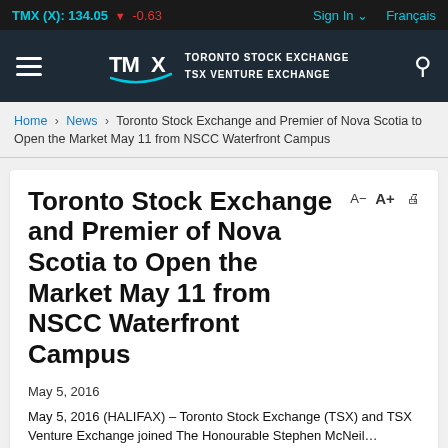TMX (X): 134.05 ▼ -0.63   Sign In   Français
[Figure (logo): TMX Toronto Stock Exchange TSX Venture Exchange logo on dark navy background with hamburger menu and search icon]
Home > News > Toronto Stock Exchange and Premier of Nova Scotia to Open the Market May 11 from NSCC Waterfront Campus
Toronto Stock Exchange and Premier of Nova Scotia to Open the Market May 11 from NSCC Waterfront Campus
May 5, 2016
May 5, 2016 (HALIFAX) – Toronto Stock Exchange (TSX) and TSX Venture Exchange joined The Honourable Stephen McNeil...